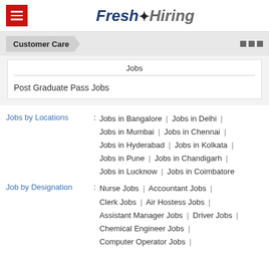[Figure (logo): Fresh Hiring website logo with hamburger menu icon on red background]
Customer Care
Jobs
Post Graduate Pass Jobs
Jobs by Locations : Jobs in Bangalore | Jobs in Delhi | Jobs in Mumbai | Jobs in Chennai | Jobs in Hyderabad | Jobs in Kolkata | Jobs in Pune | Jobs in Chandigarh | Jobs in Lucknow | Jobs in Coimbatore
Job by Designation : Nurse Jobs | Accountant Jobs | Clerk Jobs | Air Hostess Jobs | Assistant Manager Jobs | Driver Jobs | Chemical Engineer Jobs | Computer Operator Jobs |